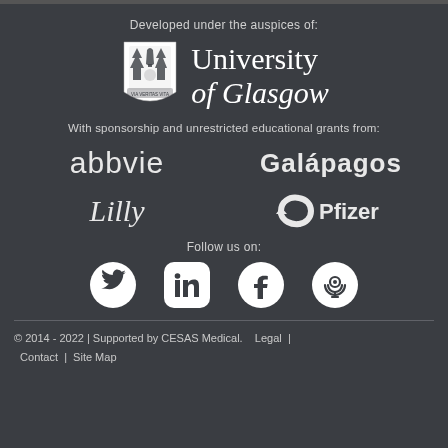Developed under the auspices of:
[Figure (logo): University of Glasgow logo with crest and text]
With sponsorship and unrestricted educational grants from:
[Figure (logo): AbbVie logo]
[Figure (logo): Galápagos logo]
[Figure (logo): Lilly logo]
[Figure (logo): Pfizer logo]
Follow us on:
[Figure (infographic): Social media icons: Twitter, LinkedIn, Facebook, Podcast]
© 2014 - 2022 | Supported by CESAS Medical.    Legal  |  Contact  |  Site Map